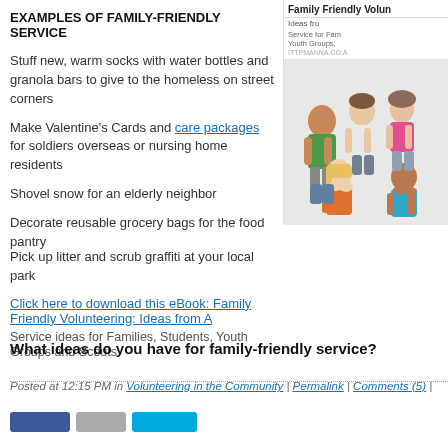EXAMPLES OF FAMILY-FRIENDLY SERVICE
Stuff new, warm socks with water bottles and granola bars to give to the homeless on street corners
Make Valentine’s Cards and care packages for soldiers overseas or nursing home residents
Shovel snow for an elderly neighbor
Decorate reusable grocery bags for the food pantry
[Figure (photo): Book cover or promotional image for 'Family Friendly Volunteering' showing a group of children smiling, with subtitle text about service ideas for families, students, youth groups and scouts.]
Pick up litter and scrub graffiti at your local park
Click here to download this eBook: Family Friendly Volunteering: Ideas from A
Service ideas for Families, Students, Youth Groups and Scouts
What ideas do you have for family-friendly service?
Posted at 12:15 PM in Volunteering in the Community | Permalink | Comments (5) |